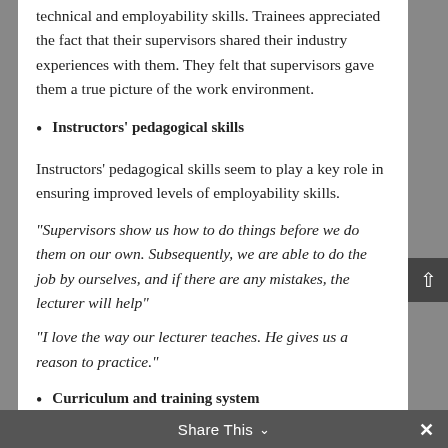technical and employability skills. Trainees appreciated the fact that their supervisors shared their industry experiences with them. They felt that supervisors gave them a true picture of the work environment.
Instructors' pedagogical skills
Instructors' pedagogical skills seem to play a key role in ensuring improved levels of employability skills.
“Supervisors show us how to do things before we do them on our own. Subsequently, we are able to do the job by ourselves, and if there are any mistakes, the lecturer will help”
“I love the way our lecturer teaches. He gives us a reason to practice.”
Curriculum and training system
Share This